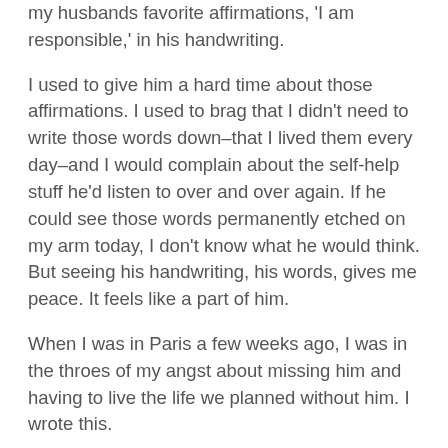my husbands favorite affirmations, 'I am responsible,' in his handwriting.
I used to give him a hard time about those affirmations. I used to brag that I didn't need to write those words down–that I lived them every day–and I would complain about the self-help stuff he'd listen to over and over again. If he could see those words permanently etched on my arm today, I don't know what he would think. But seeing his handwriting, his words, gives me peace. It feels like a part of him.
When I was in Paris a few weeks ago, I was in the throes of my angst about missing him and having to live the life we planned without him. I wrote this.
I am responsible means…
I will raise great children who will become amazing